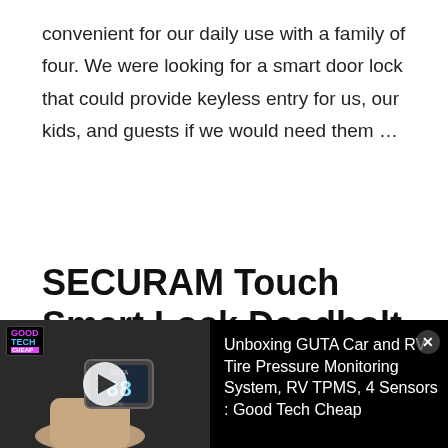convenient for our daily use with a family of four. We were looking for a smart door lock that could provide keyless entry for us, our kids, and guests if we would need them …
Read More
SECURAM Touch Smart Lock Deadbolt review
By Cat Green / April 10, 2021 / Reviews / Home Security, Locks, Security / Leave a Comment
[Figure (screenshot): Video overlay showing a hand holding a GUTA tire pressure monitor device with '88' on screen, with a play button and logo badge. Right side shows text: Unboxing GUTA Car and RV Tire Pressure Monitoring System, RV TPMS, 4 Sensors : Good Tech Cheap]